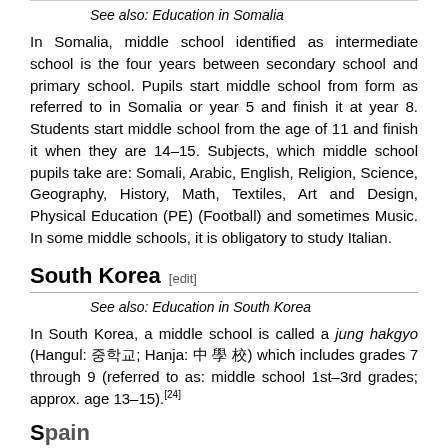See also: Education in Somalia
In Somalia, middle school identified as intermediate school is the four years between secondary school and primary school. Pupils start middle school from form as referred to in Somalia or year 5 and finish it at year 8. Students start middle school from the age of 11 and finish it when they are 14–15. Subjects, which middle school pupils take are: Somali, Arabic, English, Religion, Science, Geography, History, Math, Textiles, Art and Design, Physical Education (PE) (Football) and sometimes Music. In some middle schools, it is obligatory to study Italian.
South Korea [edit]
See also: Education in South Korea
In South Korea, a middle school is called a jung hakgyo (Hangul: 중학교; Hanja: 中 學 校) which includes grades 7 through 9 (referred to as: middle school 1st–3rd grades; approx. age 13–15).[24]
Spain